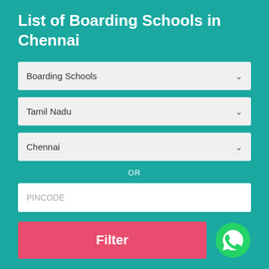List of Boarding Schools in Chennai
[Figure (screenshot): Dropdown selector showing 'Boarding Schools' with a chevron arrow on the right, on a light grey background]
[Figure (screenshot): Dropdown selector showing 'Tamil Nadu' with a chevron arrow on the right, on a light grey background]
[Figure (screenshot): Dropdown selector showing 'Chennai' with a chevron arrow on the right, on a light grey background]
OR
[Figure (screenshot): Text input field with placeholder text 'PINCODE' on white background]
[Figure (screenshot): Pink 'Filter' button and green WhatsApp icon on the right]